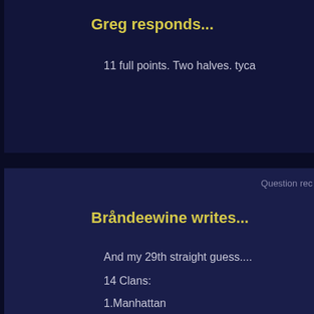Greg responds...
11 full points. Two halves. tyca
Question rec
Bråndeewine writes...
And my 29th straight guess....
14 Clans:
1.Manhattan
2.Avalon
3.London, England (just outside of it)
4.Ishimura, Japan
5.Guatemala
6.New Olympus
7.Xanadu, China
8.The Labyrinth (New York)
9.Paris, France
10.Wyvern, Scotland